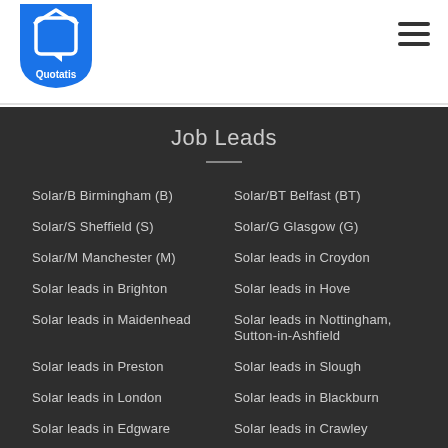[Figure (logo): Quotatis logo — white house/quote icon inside a blue shield with 'Quotatis' text]
Job Leads
Solar/B Birmingham (B)
Solar/BT Belfast (BT)
Solar/S Sheffield (S)
Solar/G Glasgow (G)
Solar/M Manchester (M)
Solar leads in Croydon
Solar leads in Brighton
Solar leads in Hove
Solar leads in Maidenhead
Solar leads in Nottingham, Sutton-in-Ashfield
Solar leads in Preston
Solar leads in Slough
Solar leads in London
Solar leads in Blackburn
Solar leads in Edgware
Solar leads in Crawley
Solar leads in Ilford
Solar leads in Bolton